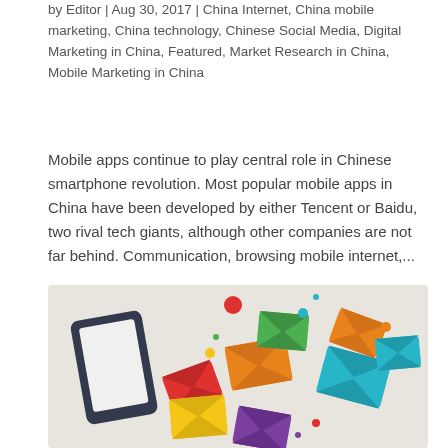by Editor | Aug 30, 2017 | China Internet, China mobile marketing, China technology, Chinese Social Media, Digital Marketing in China, Featured, Market Research in China, Mobile Marketing in China
Mobile apps continue to play central role in Chinese smartphone revolution. Most popular mobile apps in China have been developed by either Tencent or Baidu, two rival tech giants, although other companies are not far behind. Communication, browsing mobile internet,...
[Figure (illustration): Illustration of a smartphone with colorful envelope icons flying out of it, representing mobile messaging apps. Envelopes are in orange, red, yellow, teal, green, and purple colors on a light beige background.]